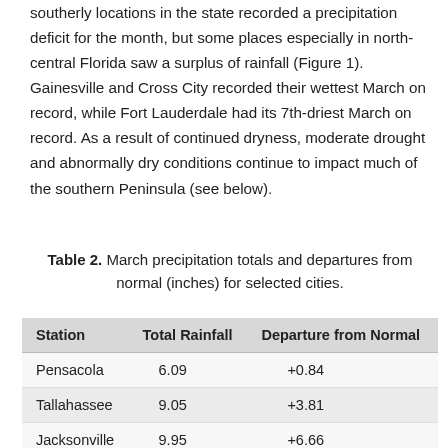southerly locations in the state recorded a precipitation deficit for the month, but some places especially in north-central Florida saw a surplus of rainfall (Figure 1). Gainesville and Cross City recorded their wettest March on record, while Fort Lauderdale had its 7th-driest March on record. As a result of continued dryness, moderate drought and abnormally dry conditions continue to impact much of the southern Peninsula (see below).
Table 2. March precipitation totals and departures from normal (inches) for selected cities.
| Station | Total Rainfall | Departure from Normal |
| --- | --- | --- |
| Pensacola | 6.09 | +0.84 |
| Tallahassee | 9.05 | +3.81 |
| Jacksonville | 9.95 | +6.66 |